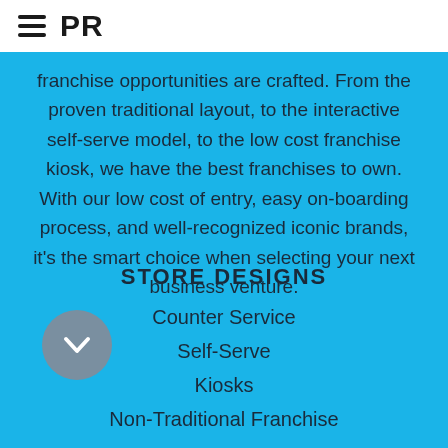PR
franchise opportunities are crafted. From the proven traditional layout, to the interactive self-serve model, to the low cost franchise kiosk, we have the best franchises to own. With our low cost of entry, easy on-boarding process, and well-recognized iconic brands, it's the smart choice when selecting your next business venture.
STORE DESIGNS
Counter Service
Self-Serve
Kiosks
Non-Traditional Franchise